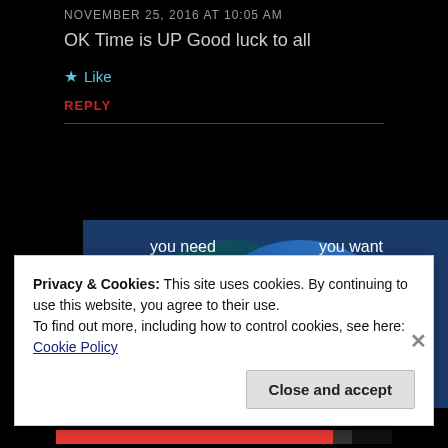NOVEMBER 25, 2016 AT 10:05 AM
OK Time is UP Good luck to all
Like
REPLY
[Figure (infographic): Venn diagram with two overlapping circles on blue background; left circle labeled 'you need', right circle labeled 'you want']
Privacy & Cookies: This site uses cookies. By continuing to use this website, you agree to their use.
To find out more, including how to control cookies, see here: Cookie Policy
Close and accept